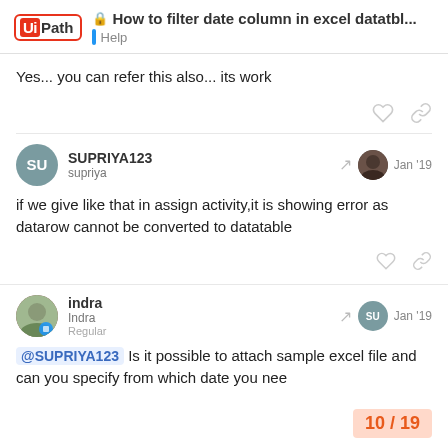UiPath | How to filter date column in excel datatbl... | Help
Yes... you can refer this also... its work
SUPRIYA123 supriya — Jan '19
if we give like that in assign activity,it is showing error as datarow cannot be converted to datatable
indra indra Regular — Jan '19
@SUPRIYA123 Is it possible to attach sample excel file and can you specify from which date you nee
10 / 19